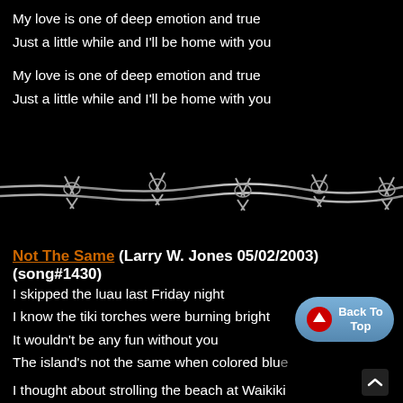My love is one of deep emotion and true
Just a little while and I'll be home with you

My love is one of deep emotion and true
Just a little while and I'll be home with you
[Figure (illustration): Barbed wire graphic as a horizontal decorative divider, gray metallic appearance on black background]
Not The Same (Larry W. Jones 05/02/2003) (song#1430)
I skipped the luau last Friday night
I know the tiki torches were burning bright
It wouldn't be any fun without you
The island's not the same when colored blu
I thought about strolling the beach at Waikiki